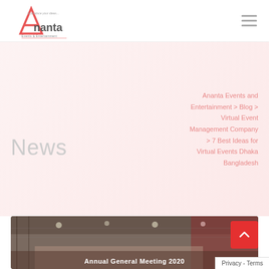Ananta Events & Entertainment logo and navigation hamburger menu
News
Ananta Events and Entertainment > Blog > Virtual Event Management Company > 7 Best Ideas for Virtual Events Dhaka Bangladesh
[Figure (photo): Photo of a large indoor event venue with red stage lighting and curtains, overlaid with text 'Annual General Meeting 2020']
Privacy - Terms